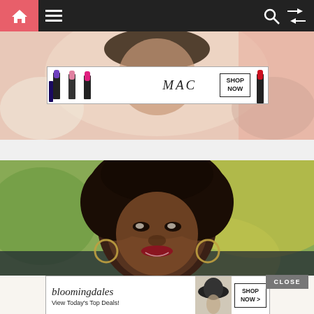[Figure (screenshot): Navigation bar with home icon (pink background), hamburger menu, search icon, and shuffle icon on dark background]
[Figure (photo): Top portion of a webpage showing a child photo with a MAC cosmetics advertisement banner showing lipsticks and 'SHOP NOW' button]
[Figure (photo): Main content photo of a smiling Black woman with natural afro hair, wearing hoop earrings, outdoors with green foliage in background. A 'CLOSE' button is visible in the bottom right corner.]
[Figure (photo): Bloomingdale's advertisement banner: 'bloomingdales View Today's Top Deals!' with a woman in a wide-brimmed hat and 'SHOP NOW >' button]